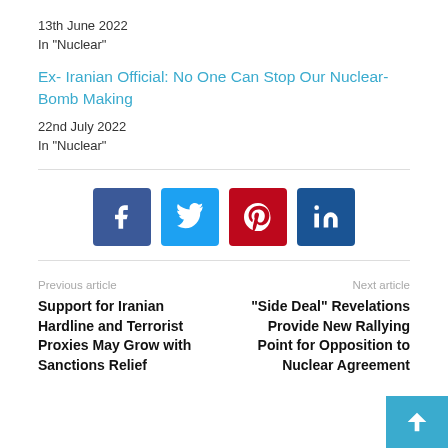13th June 2022
In "Nuclear"
Ex- Iranian Official: No One Can Stop Our Nuclear-Bomb Making
22nd July 2022
In "Nuclear"
[Figure (infographic): Social share buttons: Facebook (blue), Twitter (light blue), Pinterest (red), LinkedIn (dark blue)]
Previous article
Support for Iranian Hardline and Terrorist Proxies May Grow with Sanctions Relief
Next article
“Side Deal” Revelations Provide New Rallying Point for Opposition to Nuclear Agreement